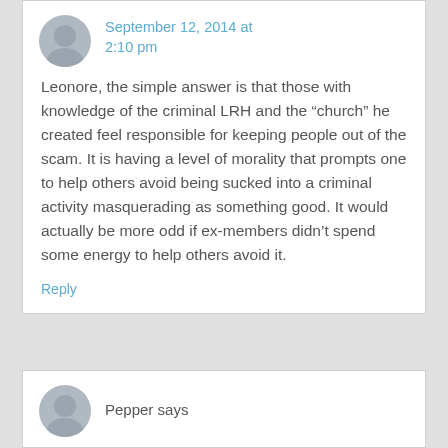September 12, 2014 at 2:10 pm
Leonore, the simple answer is that those with knowledge of the criminal LRH and the “church” he created feel responsible for keeping people out of the scam. It is having a level of morality that prompts one to help others avoid being sucked into a criminal activity masquerading as something good. It would actually be more odd if ex-members didn’t spend some energy to help others avoid it.
Reply
Pepper says